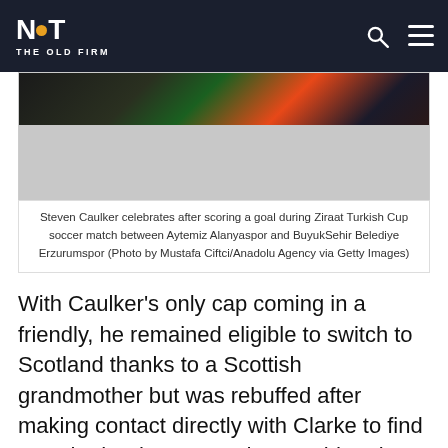NOT THE OLD FIRM
[Figure (photo): Photo of Steven Caulker celebrating a goal, partial view showing colorful sports kit]
Steven Caulker celebrates after scoring a goal during Ziraat Turkish Cup soccer match between Aytemiz Alanyaspor and BuyukSehir Belediye Erzurumspor (Photo by Mustafa Ciftci/Anadolu Agency via Getty Images)
With Caulker's only cap coming in a friendly, he remained eligible to switch to Scotland thanks to a Scottish grandmother but was rebuffed after making contact directly with Clarke to find out whether he was under consideration for a place in his squad ahead of the Euros.
“I did call him (Clarke) because I wanted to k…